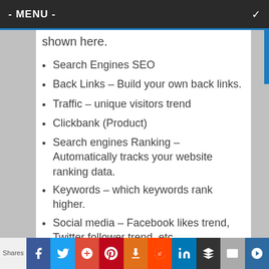- MENU -
shown here.
Search Engines SEO
Back Links – Build your own back links.
Traffic – unique visitors trend
Clickbank (Product)
Search engines Ranking – Automatically tracks your website ranking data.
Keywords – which keywords rank higher.
Social media – Facebook likes trend, Twitter follower trend, etc.
Shares | f | t | G+ | P | t | reddit | in | buffer | mail | crown